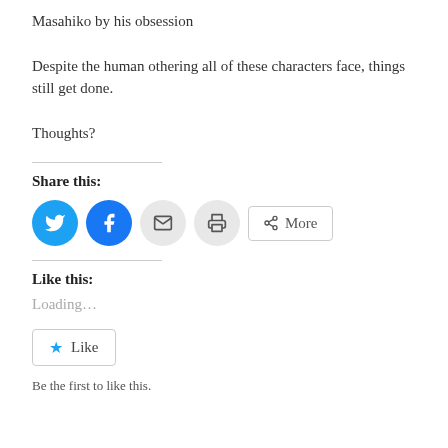Masahiko by his obsession
Despite the human othering all of these characters face, things still get done.
Thoughts?
Share this:
[Figure (other): Social share buttons: Twitter (blue circle), Facebook (blue circle), Email (grey circle), Print (grey circle), More (rectangle button)]
Like this:
Loading...
[Figure (other): Like button with star icon]
Be the first to like this.